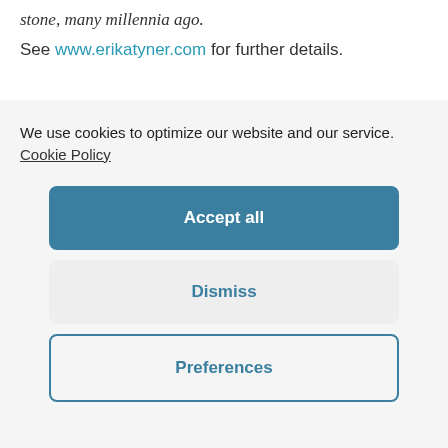stone, many millennia ago.
See www.erikatyner.com for further details.
We use cookies to optimize our website and our service. Cookie Policy
Accept all
Dismiss
Preferences